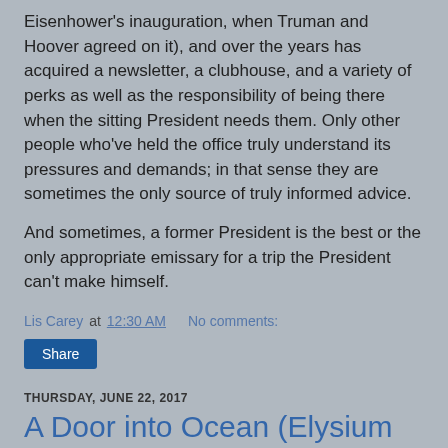Eisenhower's inauguration, when Truman and Hoover agreed on it), and over the years has acquired a newsletter, a clubhouse, and a variety of perks as well as the responsibility of being there when the sitting President needs them. Only other people who've held the office truly understand its pressures and demands; in that sense they are sometimes the only source of truly informed advice.

And sometimes, a former President is the best or the only appropriate emissary for a trip the President can't make himself.
Lis Carey at 12:30 AM   No comments:
Share
THURSDAY, JUNE 22, 2017
A Door into Ocean (Elysium Cycle), by Joan Slonczewski
[Figure (photo): Partial image visible at bottom of page, appears to be a book cover or author photo with dark tones]